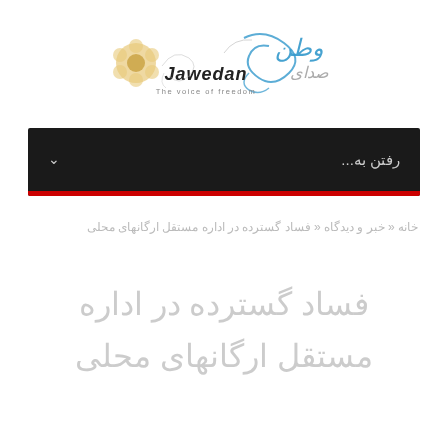[Figure (logo): Jawedan logo with Arabic/Persian calligraphy, ornamental flower, and tagline 'The voice of freedom']
[Figure (screenshot): Dark navigation bar with Persian text 'رفتن به...' and a chevron arrow, with red bottom border]
خانه « خبر و دیدگاه « فساد گسترده در اداره مستقل ارگانهای محلی
فساد گسترده در اداره مستقل ارگانهای محلی